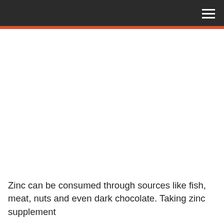Zinc can be consumed through sources like fish, meat, nuts and even dark chocolate.  Taking zinc supplement